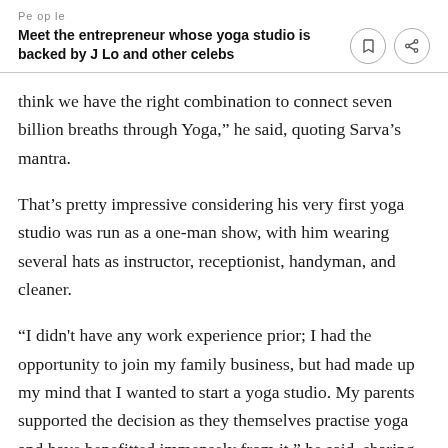People
Meet the entrepreneur whose yoga studio is backed by J Lo and other celebs
think we have the right combination to connect seven billion breaths through Yoga,” he said, quoting Sarva’s mantra.
That’s pretty impressive considering his very first yoga studio was run as a one-man show, with him wearing several hats as instructor, receptionist, handyman, and cleaner.
“I didn’t have any work experience prior; I had the opportunity to join my family business, but had made up my mind that I wanted to start a yoga studio. My parents supported the decision as they themselves practise yoga and have benefitted immensely from it,” he said, sharing that his father is an entrepreneur running 17 businesses with an annual revenue of about US$200 million, while his mother